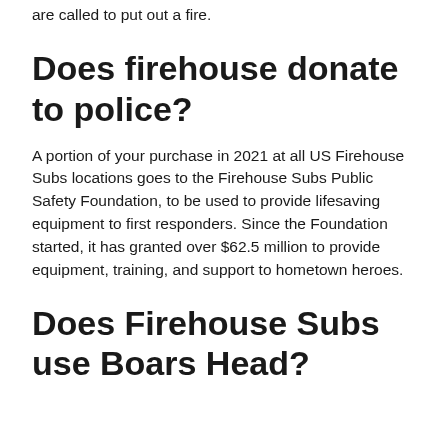are called to put out a fire.
Does firehouse donate to police?
A portion of your purchase in 2021 at all US Firehouse Subs locations goes to the Firehouse Subs Public Safety Foundation, to be used to provide lifesaving equipment to first responders. Since the Foundation started, it has granted over $62.5 million to provide equipment, training, and support to hometown heroes.
Does Firehouse Subs use Boars Head?